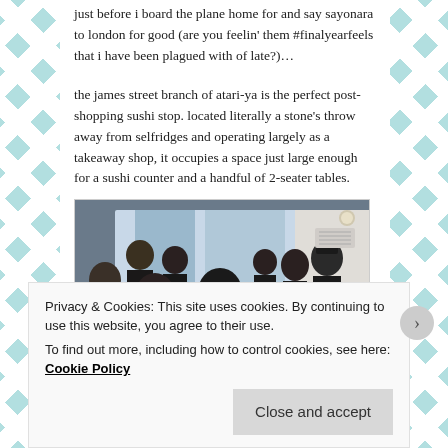just before i board the plane home for and say sayonara to london for good (are you feelin' them #finalyearfeels that i have been plagued with of late?)…
the james street branch of atari-ya is the perfect post-shopping sushi stop. located literally a stone's throw away from selfridges and operating largely as a takeaway shop, it occupies a space just large enough for a sushi counter and a handful of 2-seater tables.
[Figure (photo): Interior of atari-ya sushi restaurant on James Street, showing customers seated at small tables and chefs working behind a sushi counter.]
Privacy & Cookies: This site uses cookies. By continuing to use this website, you agree to their use.
To find out more, including how to control cookies, see here: Cookie Policy